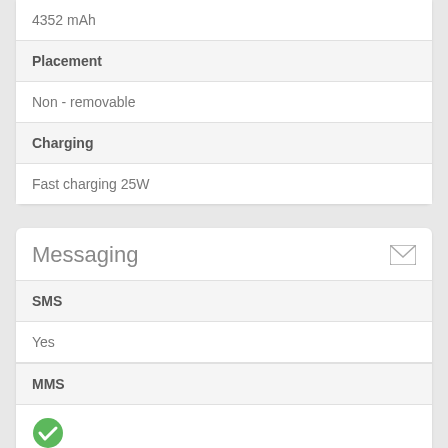| 4352 mAh |
| Placement |
| Non - removable |
| Charging |
| Fast charging 25W |
| Messaging |
| --- |
| SMS |
| Yes |
| MMS |
| ✓ |
| Email |